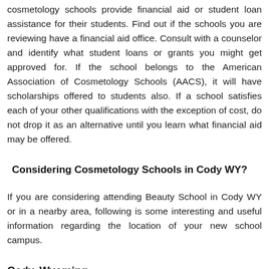cosmetology schools provide financial aid or student loan assistance for their students. Find out if the schools you are reviewing have a financial aid office. Consult with a counselor and identify what student loans or grants you might get approved for. If the school belongs to the American Association of Cosmetology Schools (AACS), it will have scholarships offered to students also. If a school satisfies each of your other qualifications with the exception of cost, do not drop it as an alternative until you learn what financial aid may be offered.
Considering Cosmetology Schools in Cody WY?
If you are considering attending Beauty School in Cody WY or in a nearby area, following is some interesting and useful information regarding the location of your new school campus.
Cody, Wyoming